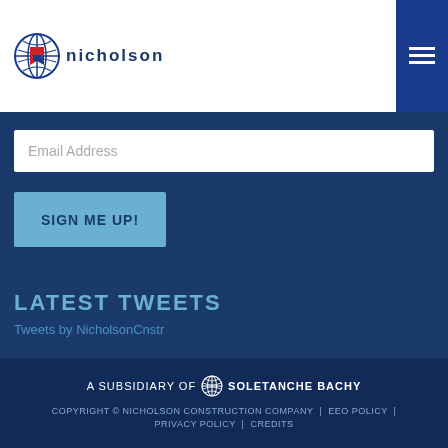NICHOLSON
Email Address
SIGN ME UP!
LATEST TWEETS
Tweets by NicholsonCnstr
A SUBSIDIARY OF SOLETANCHE BACHY | COPYRIGHT © NICHOLSON CONSTRUCTION COMPANY | EEO POLICY | PRIVACY POLICY | CREDITS